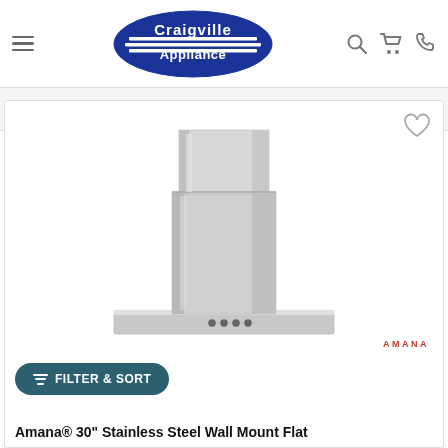Craigville Appliance
[Figure (photo): Stainless steel wall mount flat range hood product photo with chimney extension, shown against white background. Amana brand logo visible in bottom right of image.]
AMANA
FILTER & SORT
Amana® 30" Stainless Steel Wall Mount Flat